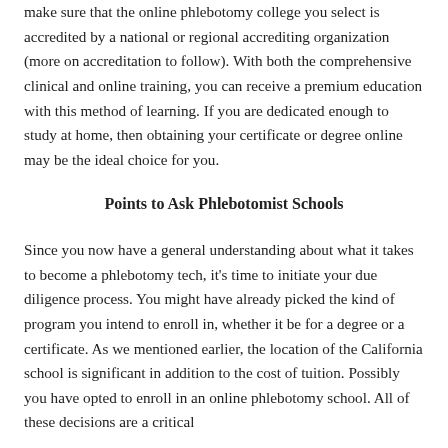make sure that the online phlebotomy college you select is accredited by a national or regional accrediting organization (more on accreditation to follow). With both the comprehensive clinical and online training, you can receive a premium education with this method of learning. If you are dedicated enough to study at home, then obtaining your certificate or degree online may be the ideal choice for you.
Points to Ask Phlebotomist Schools
Since you now have a general understanding about what it takes to become a phlebotomy tech, it's time to initiate your due diligence process. You might have already picked the kind of program you intend to enroll in, whether it be for a degree or a certificate. As we mentioned earlier, the location of the California school is significant in addition to the cost of tuition. Possibly you have opted to enroll in an online phlebotomy school. All of these decisions are a critical